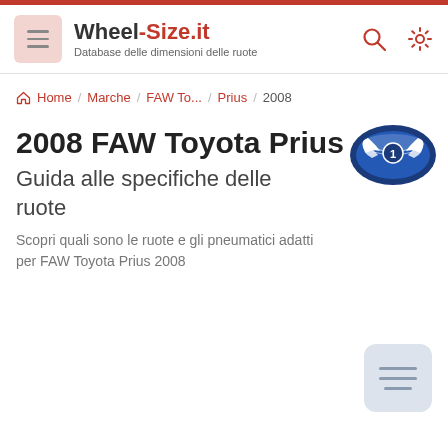Wheel-Size.it — Database delle dimensioni delle ruote
Home / Marche / FAW To... / Prius / 2008
2008 FAW Toyota Prius
Guida alle specifiche delle ruote
Scopri quali sono le ruote e gli pneumatici adatti per FAW Toyota Prius 2008
[Figure (logo): FAW logo — blue oval with stylized eagle and number 1]